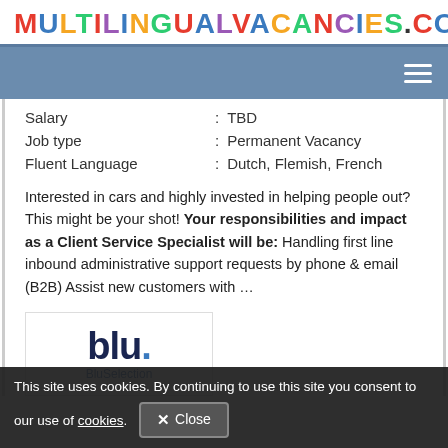MULTILINGUALVACANCIES.COM
| Salary | TBD |
| Job type | Permanent Vacancy |
| Fluent Language | Dutch, Flemish, French |
Interested in cars and highly invested in helping people out? This might be your shot! Your responsibilities and impact as a Client Service Specialist will be: Handling first line inbound administrative support requests by phone & email (B2B) Assist new customers with …
[Figure (logo): blu. company logo with BluSelection text below]
This site uses cookies. By continuing to use this site you consent to our use of cookies.